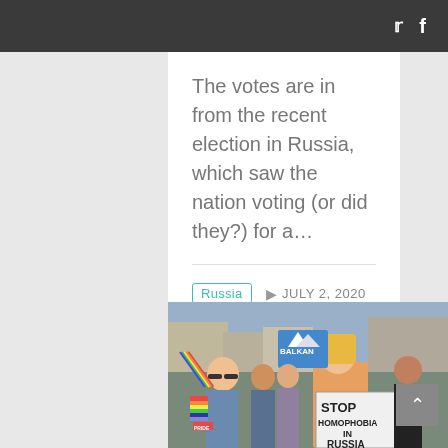Twitter and Facebook icons
The votes are in from the recent election in Russia, which saw the nation voting (or did they?) for a…
Russia   JULY 2, 2020
👍 Like   👍 5 😢 1 😡 13
[Figure (photo): A protest march with people holding a sign reading 'STOP HOMOPHOBIA IN RUSSIA'. Protesters carry rainbow flags and wear pride colors. A banner in the background reads 'BALKAN'.]